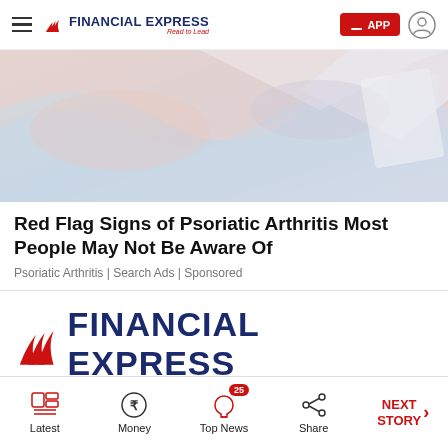FINANCIAL EXPRESS Read to Lead — APP button and user icon
[Figure (photo): Abstract colorful background image with shapes in muted pink, blue, and gray tones]
Red Flag Signs of Psoriatic Arthritis Most People May Not Be Aware Of
Psoriatic Arthritis | Search Ads | Sponsored
[Figure (logo): Financial Express logo — large red flame/wave icon with FINANCIAL EXPRESS in dark navy blue bold text and Read to Lead tagline in red italic below]
Latest | Money | Top News 25 | Share | NEXT STORY